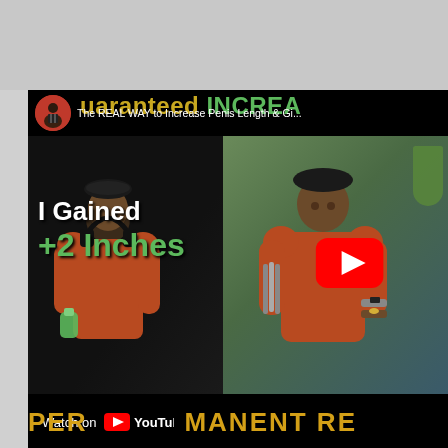[Figure (screenshot): YouTube video thumbnail/embed showing a man in an orange sweater and black beret holding headphones and tools. Title text reads 'The REAL WAY to Increase Penis Length & Gi...' with overlay text 'I Gained +2 Inches' and bottom bar showing 'Watch on YouTube' and 'PERMANENT RE...' The video has a red YouTube play button overlay.]